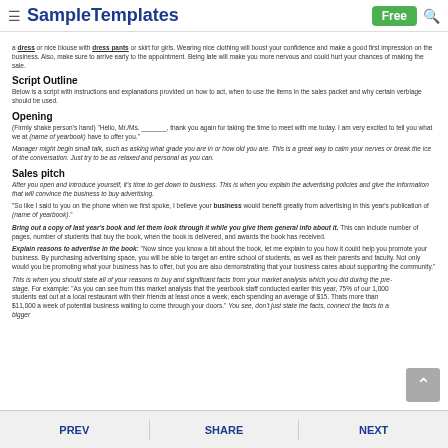SampleTemplates  Free
a dress or nice blouse with dress pants or skirt for girls. Wearing nice clothing will boost your confidence and make a good first impression on the business. Also, make sure to arrive early to the appointment. Being late will make you more nervous and could hurt your chances of making the sale.
Script Outline
Below is a script with instructions and explanations provided on how to act, when to use the items in the sales packet and why certain verbiage should be used.
Opening
(Firmly shake person's hand) "Hello, Mr./Ms. _______, thank you again for taking the time to meet with me today. I am very excited to tell you what we at (name of yearbook) have to offer you."
Manager might begin small talk, such as asking what grade you are in or how old you are. This is a great way to calm your nerves or break the ice of the conversation. Just try to be as relaxed and personal as you can.
Sales pitch
After you open and introduce yourself, it's time to get down to business. This is when you explain the advertising policies and give the information that will convince the business to buy advertising.
"So like I said to you on the phone when we first spoke, I believe your business would benefit greatly from advertising in this year's publication of (name of yearbook)."
Bring out a copy of last year's book and let them look through it while you give them general info about it. This can include number of pages, number of students that buy the book, when the book is delivered, and awards the book has received.
Explain reasons to advertise in the book: "Now since you know a bit about the book, let me explain to you how it could help you promote your business. By purchasing advertising space, you will be able to target an entire school of students, as well as their parents and faculty. Not only would you be promoting what your business has to offer, but you are also demonstrating that your business cares about supporting the community."
This is when you should state all of your reasons to buy and significant facts from your market analysis which you did during the pre-stage. For example: "As you can see from this market analysis that the yearbook staff conducted earlier this year, 75% of our 1,000 students eat out at a local restaurant with their friends at least once a week, each spending an average of $15. Thats more than $11,000 a week of potential business waiting to come through your doors." You see, don't just state the facts, connect the facts to a bigger
PREV  SHARE  NEXT